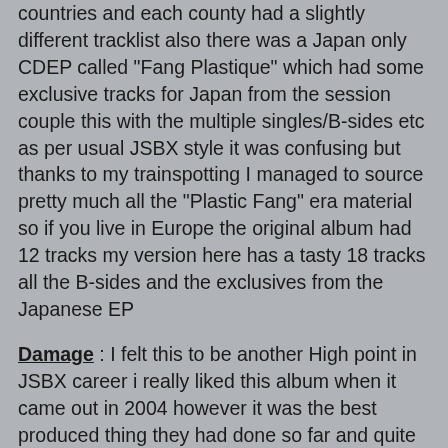countries and each county had a slightly different tracklist also there was a Japan only CDEP called "Fang Plastique" which had some exclusive tracks for Japan from the session couple this with the multiple singles/B-sides etc as per usual JSBX style it was confusing but thanks to my trainspotting I managed to source pretty much all the "Plastic Fang" era material so if you live in Europe the original album had 12 tracks my version here has a tasty 18 tracks all the B-sides and the exclusives from the Japanese EP
Damage : I felt this to be another High point in JSBX career i really liked this album when it came out in 2004 however it was the best produced thing they had done so far and quite slick for their usual raw sound! I'm afraid there's no bonus material here as there was little to be had mostly remixes.
Meat And Bone : after an 8 year hiatus JSBX were back with a new album and was it any good? well to be honest i didn't think this album was all that great kinda lackluster and a bit disappointing nothing truly terrible just didn't move me.
Jukebox Explosion : between 2002 and to date 2012 JSBX